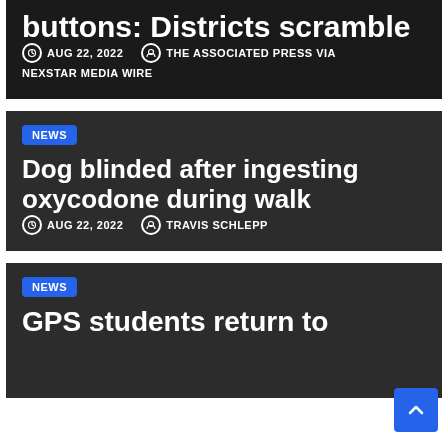buttons: Districts scramble
AUG 22, 2022  THE ASSOCIATED PRESS VIA NEXSTAR MEDIA WIRE
NEWS
Dog blinded after ingesting oxycodone during walk
AUG 22, 2022  TRAVIS SCHLEPP
NEWS
GPS students return to